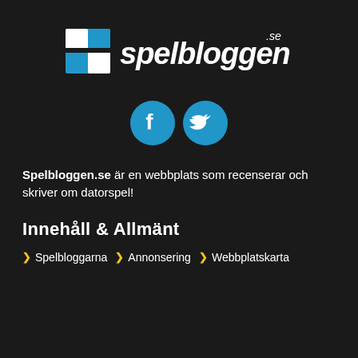[Figure (logo): Spelbloggen.se logo — white stylized 'S' arrow icon in blue/white on dark background with italic white text 'spelbloggen' and superscript '.se']
[Figure (infographic): Two circular social media icons: Facebook (f) and Twitter (bird) in blue circles]
Spelbloggen.se är en webbplats som recenserar och skriver om datorspel!
Innehåll & Allmänt
Spelbloggarna
Annonsering
Webbplatskarta